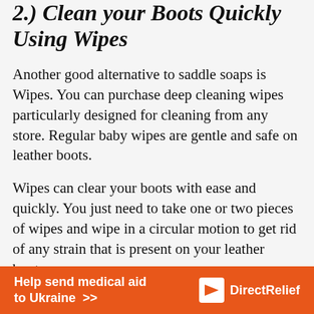2.) Clean your Boots Quickly Using Wipes
Another good alternative to saddle soaps is Wipes. You can purchase deep cleaning wipes particularly designed for cleaning from any store. Regular baby wipes are gentle and safe on leather boots.
Wipes can clear your boots with ease and quickly. You just need to take one or two pieces of wipes and wipe in a circular motion to get rid of any strain that is present on your leather boots.
Note: Wipes are mostly appropriate on leathers like aniline and pigmented.
3.) White Vinegar and Olive Oil are
[Figure (other): Orange advertisement banner for Direct Relief: 'Help send medical aid to Ukraine >>' with Direct Relief logo on right side]